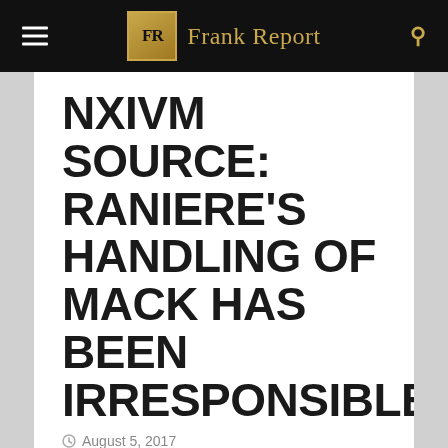FR Frank Report
NXIVM SOURCE: RANIERE'S HANDLING OF MACK HAS BEEN IRRESPONSIBLE
August 5, 2017
[Figure (photo): Blurred photograph of a person's face, partially visible, dark background]